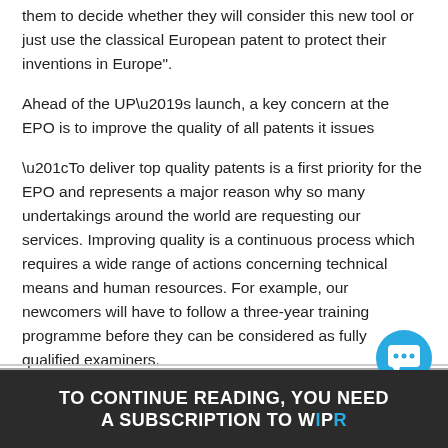them to decide whether they will consider this new tool or just use the classical European patent to protect their inventions in Europe".
Ahead of the UP’s launch, a key concern at the EPO is to improve the quality of all patents it issues
“To deliver top quality patents is a first priority for the EPO and represents a major reason why so many undertakings around the world are requesting our services. Improving quality is a continuous process which requires a wide range of actions concerning technical means and human resources. For example, our newcomers will have to follow a three-year training programme before they can be considered as fully qualified examiners.
TO CONTINUE READING, YOU NEED A SUBSCRIPTION TO WIPR